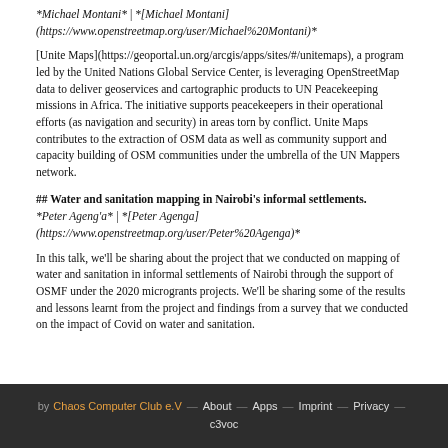*Michael Montani* | *[Michael Montani](https://www.openstreetmap.org/user/Michael%20Montani)*
[Unite Maps](https://geoportal.un.org/arcgis/apps/sites/#/unitemaps), a program led by the United Nations Global Service Center, is leveraging OpenStreetMap data to deliver geoservices and cartographic products to UN Peacekeeping missions in Africa. The initiative supports peacekeepers in their operational efforts (as navigation and security) in areas torn by conflict. Unite Maps contributes to the extraction of OSM data as well as community support and capacity building of OSM communities under the umbrella of the UN Mappers network.
## Water and sanitation mapping in Nairobi's informal settlements.
*Peter Ageng'a* | *[Peter Agenga](https://www.openstreetmap.org/user/Peter%20Agenga)*
In this talk, we'll be sharing about the project that we conducted on mapping of water and sanitation in informal settlements of Nairobi through the support of OSMF under the 2020 microgrants projects. We'll be sharing some of the results and lessons learnt from the project and findings from a survey that we conducted on the impact of Covid on water and sanitation.
by Chaos Computer Club e.V — About — Apps — Imprint — Privacy — c3voc